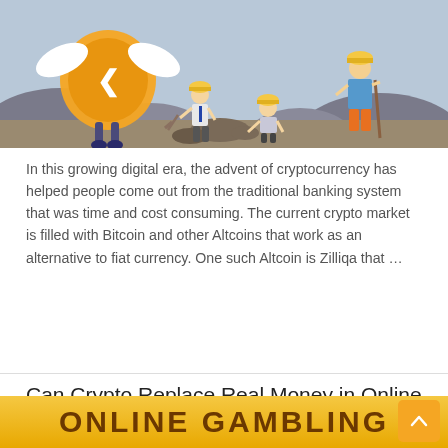[Figure (illustration): Cartoon illustration of a large Zilliqa cryptocurrency coin character with wings and miners in a rocky landscape]
In this growing digital era, the advent of cryptocurrency has helped people come out from the traditional banking system that was time and cost consuming. The current crypto market is filled with Bitcoin and other Altcoins that work as an alternative to fiat currency. One such Altcoin is Zilliqa that …
Can Crypto Replace Real Money in Online Gambling Currency?
05/05/2021   Crypto Casinos   0
[Figure (illustration): Online Gambling banner strip at bottom of page]